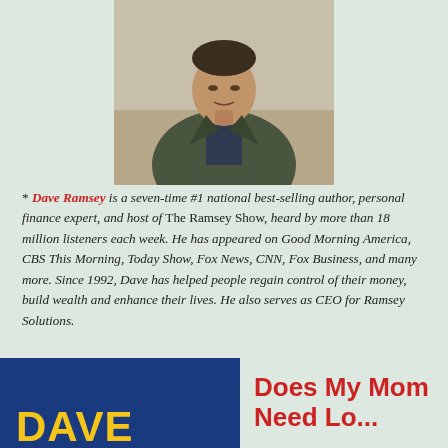[Figure (photo): Portrait photo of Dave Ramsey wearing a dark olive blazer over a dark shirt, seated with hands clasped, neutral background]
* Dave Ramsey is a seven-time #1 national best-selling author, personal finance expert, and host of The Ramsey Show, heard by more than 18 million listeners each week. He has appeared on Good Morning America, CBS This Morning, Today Show, Fox News, CNN, Fox Business, and many more. Since 1992, Dave has helped people regain control of their money, build wealth and enhance their lives. He also serves as CEO for Ramsey Solutions.
[Figure (logo): Dave Ramsey logo — blue background with golden/yellow 'DAVE' text in bold]
Does My Mom Need Long...